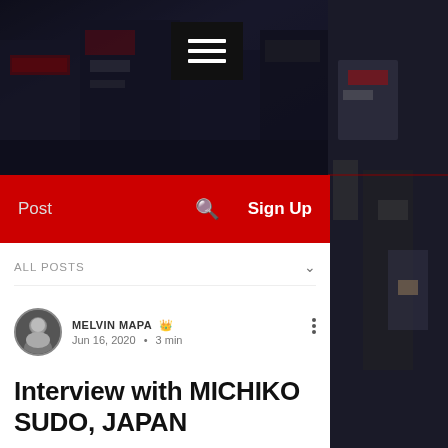[Figure (photo): Dark street scene background image with signs and buildings, partially visible on right side]
Post   🔍   Sign Up
ALL POSTS
MELVIN MAPA  Jun 16, 2020  •  3 min
Interview with MICHIKO SUDO, JAPAN
Updated: Jun 27, 2020
There are times